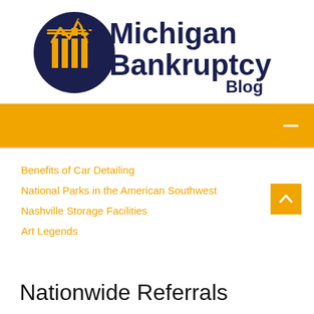[Figure (logo): Michigan Bankruptcy Blog logo with dark navy circle containing stylized columns and an M-shaped chart arrow, with text 'Michigan Bankruptcy Blog' to the right]
[Figure (other): Orange navigation bar with white hamburger/minus icon on the right]
Benefits of Car Detailing
National Parks in the American Southwest
Nashville Storage Facilities
Art Legends
Nationwide Referrals